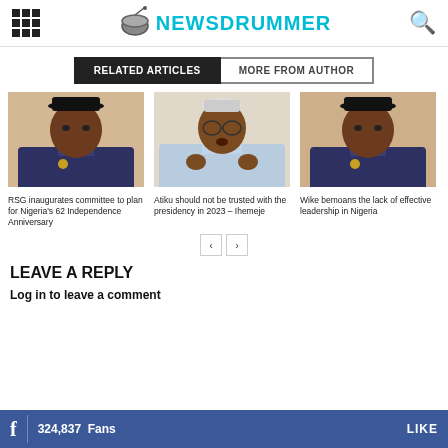NEWSDRUMMER
RELATED ARTICLES | MORE FROM AUTHOR
[Figure (photo): Photo of a man in black hat and formal attire]
RSG inaugurates committee to plan for Nigeria's 62 Independence Anniversary
[Figure (photo): Photo of a man in white traditional attire gesturing with hands]
Atiku should not be trusted with the presidency in 2023 – Ihemeje
[Figure (photo): Photo of a man in black hat and formal attire]
Wike bemoans the lack of effective leadership in Nigeria
LEAVE A REPLY
Log in to leave a comment
324,837  Fans   LIKE